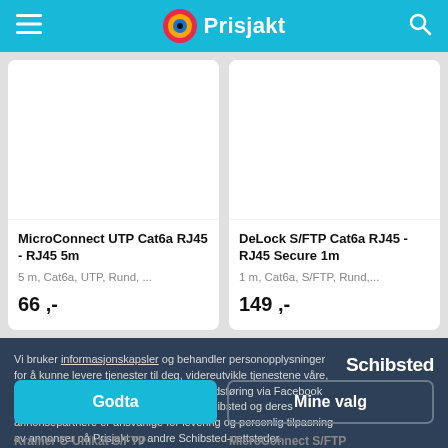Prisjakt
MicroConnect UTP Cat6a RJ45 - RJ45 5m
5 m, Cat6a, UTP, Rund, ...
66 ,-
DeLock S/FTP Cat6a RJ45 - RJ45 Secure 1m
1 m, Cat6a, S/FTP, Rund,...
149 ,-
Vi bruker informasjonskapsler og behandler personopplysninger for å kunne levere tjenester til deg, videreutvikle tjenestene våre, tilpasse innhold og gi deg relevant markedsføring via Facebook og Google. Vi er en del av Schibsted. Schibsted og deres annonsepartnere er ansvarlige for levering og personlig tilpasning av annonser på Prisjakt og andre Schibsted-nettsteder.
Godta
Mine valg
Kramer C-Unikat S/FTP
MicroConnect S/FTP